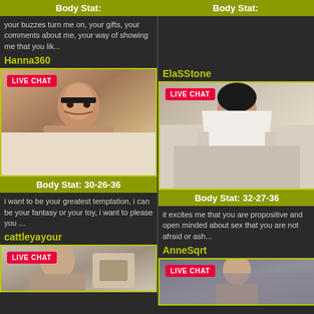Body Stat: (partial top left)
Body Stat: (partial top right)
your buzzes turn me on, your gifts, your comments about me, your way of showing me that you lik...
(right top empty area)
Hanna360
ElaSStone
[Figure (photo): Woman in black lingerie lying on bed with glasses - LIVE CHAT badge]
[Figure (photo): Woman with long dark hair in white wrap on bed - LIVE CHAT badge]
Body Stat: 30-26-36
Body Stat: 32-27-36
i want to be your greatest temptation, i can be your fantasy or your toy, i want to please you ...
it excites me that you are propositive and open minded about sex that you are not afraid or ash...
cattleyayour
AnneSqrt
[Figure (photo): Woman partial view at bottom left - LIVE CHAT badge]
[Figure (photo): Woman partial view at bottom right - LIVE CHAT badge]